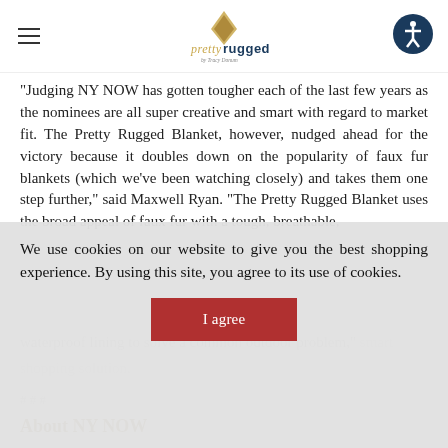pretty rugged by Tracy Donum
“Judging NY NOW has gotten tougher each of the last few years as the nominees are all super creative and smart with regard to market fit. The Pretty Rugged Blanket, however, nudged ahead for the victory because it doubles down on the popularity of faux fur blankets (which we’ve been watching closely) and takes them one step further,” said Maxwell Ryan. “The Pretty Rugged Blanket uses the broad appeal of faux fur with a tough, breathable, waterproof lining to solve a common outdoor problem,”
We use cookies on our website to give you the best shopping experience. By using this site, you agree to its use of cookies.